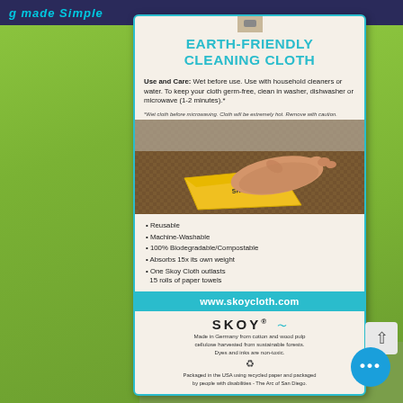[Figure (photo): Product packaging photo of Skoy Earth-Friendly Cleaning Cloth. A beige card with teal border shows product title, use and care instructions, a photo of a hand wiping a surface with a yellow cloth, bullet point features, website URL, brand logo, and sustainability information. Surrounded by green textured cleaning cloths.]
EARTH-FRIENDLY CLEANING CLOTH
Use and Care: Wet before use. Use with household cleaners or water. To keep your cloth germ-free, clean in washer, dishwasher or microwave (1-2 minutes).*
*Wet cloth before microwaving. Cloth will be extremely hot. Remove with caution.
Reusable
Machine-Washable
100% Biodegradable/Compostable
Absorbs 15x its own weight
One Skoy Cloth outlasts 15 rolls of paper towels
www.skoycloth.com
SKOY®
Made in Germany from cotton and wood pulp cellulose harvested from sustainable forests. Dyes and inks are non-toxic.
Packaged in the USA using recycled paper and packaged by people with disabilities - The Arc of San Diego.